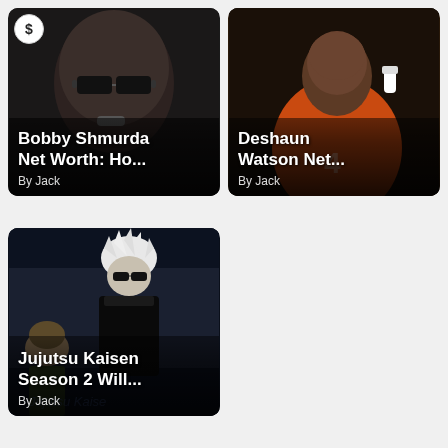[Figure (photo): Article card: Bobby Shmurda wearing sunglasses, close-up photo. Dollar sign icon in top left. Title: Bobby Shmurda Net Worth: Ho... By Jack]
[Figure (photo): Article card: Deshaun Watson in orange Cleveland Browns jersey, number 4, head bowed. Title: Deshaun Watson Net... By Jack]
[Figure (illustration): Article card: Jujutsu Kaisen anime artwork showing characters including a white-haired figure. Title: Jujutsu Kaisen Season 2 Will... By Jack]